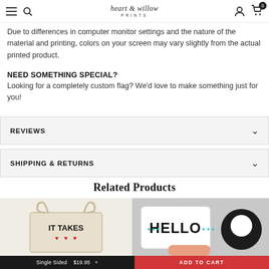Heart & Willow Prints — navigation bar with logo, search, menu, account, and cart icons
Due to differences in computer monitor settings and the nature of the material and printing, colors on your screen may vary slightly from the actual printed product.
NEED SOMETHING SPECIAL?
Looking for a completely custom flag? We'd love to make something just for you!
REVIEWS
SHIPPING & RETURNS
Related Products
[Figure (photo): Tote bag with 'IT TAKES' text and red hearts printed on it]
[Figure (photo): Mug with 'HELLO' text and teal decorative elements, held by a hand, with a dark circular chat button overlay]
Single Sided  $19.95   ADD TO CART